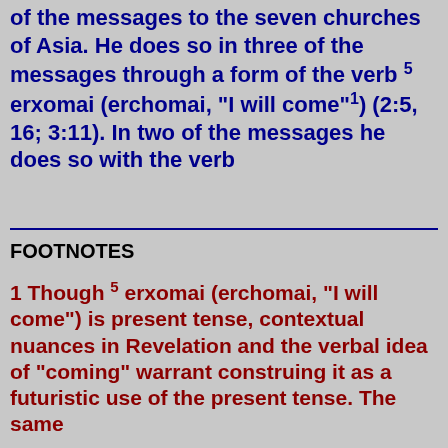of the messages to the seven churches of Asia. He does so in three of the messages through a form of the verb 5 erxomai (erchomai, "I will come"1) (2:5, 16; 3:11). In two of the messages he does so with the verb
FOOTNOTES
1 Though 5 erxomai (erchomai, "I will come") is present tense, contextual nuances in Revelation and the verbal idea of "coming" warrant construing it as a futuristic use of the present tense. The same